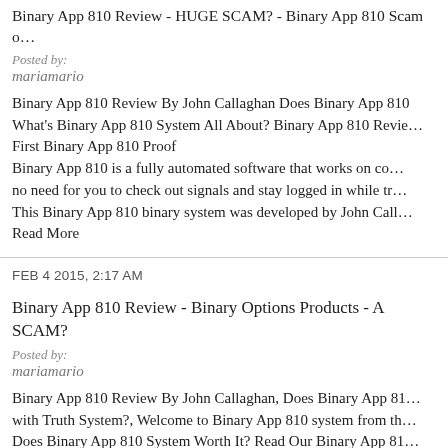Binary App 810 Review - HUGE SCAM? - Binary App 810 Scam o…
Posted by:
mariamario
Binary App 810 Review By John Callaghan Does Binary App 810 What's Binary App 810 System All About? Binary App 810 Revie… First Binary App 810 Proof Binary App 810 is a fully automated software that works on co… no need for you to check out signals and stay logged in while tr… This Binary App 810 binary system was developed by John Call… Read More
FEB 4 2015, 2:17 AM
Binary App 810 Review - Binary Options Products - A SCAM?
Posted by:
mariamario
Binary App 810 Review By John Callaghan, Does Binary App 81… with Truth System?, Welcome to Binary App 810 system from th… Does Binary App 810 System Worth It? Read Our Binary App 81… real Truth! What is Binary App 810 Review Software All About?… ? Binary App 810 Reviews? Does Binary App 810 System REALL… Binary App 810! Binary App 810…